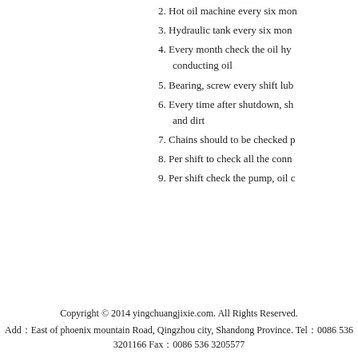2. Hot oil machine every six mon
3. Hydraulic tank every six mon
4. Every month check the oil hy conducting oil
5. Bearing, screw every shift lub
6. Every time after shutdown, sh and dirt
7. Chains should to be checked p
8. Per shift to check all the conn
9. Per shift check the pump, oil c
Copyright © 2014 yingchuangjixie.com. All Rights Reserved.
Add：East of phoenix mountain Road, Qingzhou city, Shandong Province. Tel：0086 536 3201166 Fax：0086 536 3205577